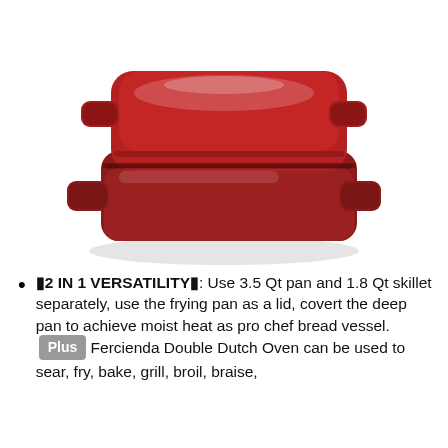[Figure (photo): A red enameled cast iron Double Dutch Oven with lid, shown at an angle. The cookware has two small side handles and features a deep pan base with a lid/skillet on top. The finish is a glossy dark red.]
🔴2 IN 1 VERSATILITY🔴: Use 3.5 Qt pan and 1.8 Qt skillet separately, use the frying pan as a lid, covert the deep pan to achieve moist heat as pro chef bread vessel. Plus Fercienda Double Dutch Oven can be used to sear, fry, bake, grill, broil, braise...